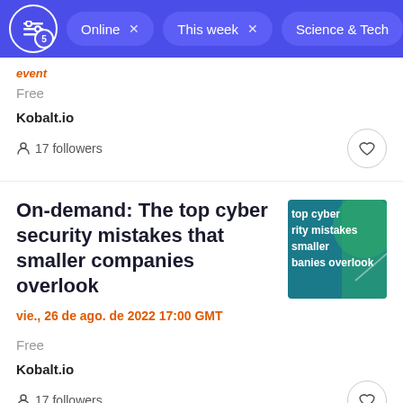Online x  This week x  Science & Tech
event
Free
Kobalt.io
17 followers
On-demand: The top cyber security mistakes that smaller companies overlook
vie., 26 de ago. de 2022 17:00 GMT
Free
Kobalt.io
17 followers
[Figure (illustration): Thumbnail image showing text: top cyber rity mistakes smaller banies overlook on a teal/blue background with green accent]